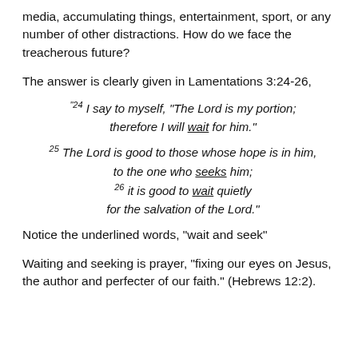media, accumulating things, entertainment, sport, or any number of other distractions. How do we face the treacherous future?
The answer is clearly given in Lamentations 3:24-26,
“24 I say to myself, “The Lord is my portion; therefore I will wait for him.”
25 The Lord is good to those whose hope is in him, to the one who seeks him;
26 it is good to wait quietly for the salvation of the Lord.”
Notice the underlined words, “wait and seek”
Waiting and seeking is prayer, “fixing our eyes on Jesus, the author and perfecter of our faith.” (Hebrews 12:2).